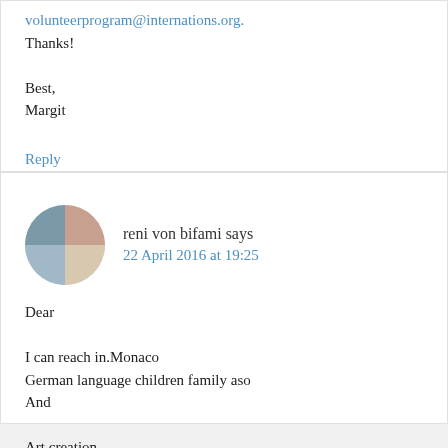volunteerprogram@internations.org.
Thanks!

Best,
Margit
Reply
reni von bifami says
22 April 2016 at 19:25
Dear

I can reach in.Monaco
German language children family aso
And

Art creation